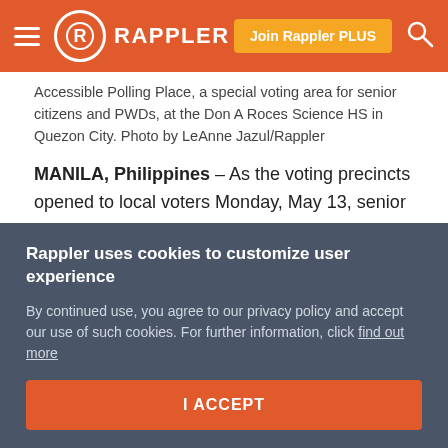Rappler — Join Rappler PLUS
Accessible Polling Place, a special voting area for senior citizens and PWDs, at the Don A Roces Science HS in Quezon City. Photo by LeAnne Jazul/Rappler
MANILA, Philippines – As the voting precincts opened to local voters Monday, May 13, senior citizens and persons with disabilities (PWDs) expressed satisfaction on the newly approved resolution to address a long-time election concern: accessibility.
For the 2019 midterm elections, the Commission on
Rappler uses cookies to customize user experience
By continued use, you agree to our privacy policy and accept our use of such cookies. For further information, click find out more
I ACCEPT